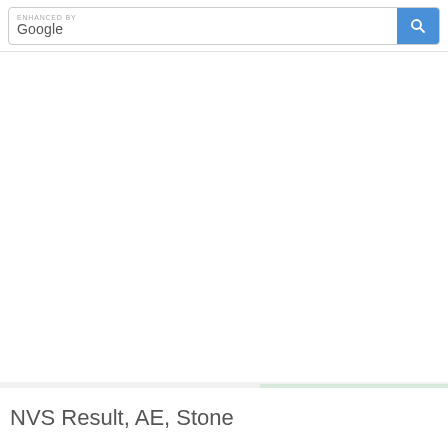ENHANCED BY Google
[Figure (screenshot): White empty content area below search bar]
[Figure (infographic): Private Internet Access VPN advertisement banner showing robot mascot and text 'The Faste... VPN For All Of Your Device...']
NVS Result, AE, Stone